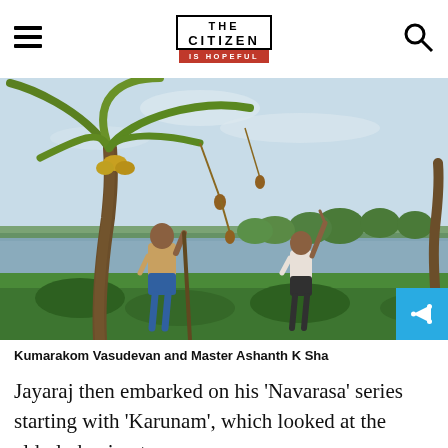THE CITIZEN IS HOPEFUL
[Figure (photo): Two people standing under a coconut palm tree near a backwater or lake. An older man on the left holds a long stick/pole and looks up. A young boy on the right reaches up toward hanging palm fruits. Lush green vegetation in the foreground, water and palm trees in the background under a partly cloudy sky.]
Kumarakom Vasudevan and Master Ashanth K Sha
Jayaraj then embarked on his 'Navarasa' series starting with 'Karunam', which looked at the elderly having to